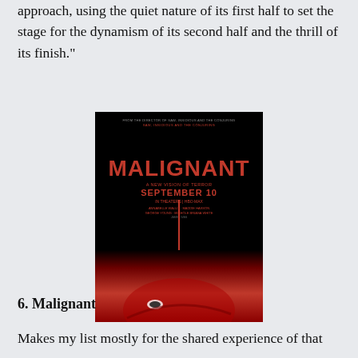approach, using the quiet nature of its first half to set the stage for the dynamism of its second half and the thrill of its finish."
[Figure (photo): Movie poster for 'Malignant' - black background with large red title text 'MALIGNANT', subtitle 'A New Vision of Terror', release date 'September 10', 'In Theaters | HBO Max', and a face lit in red light at the bottom with a red vertical line running down the center]
6. Malignant
Makes my list mostly for the shared experience of that